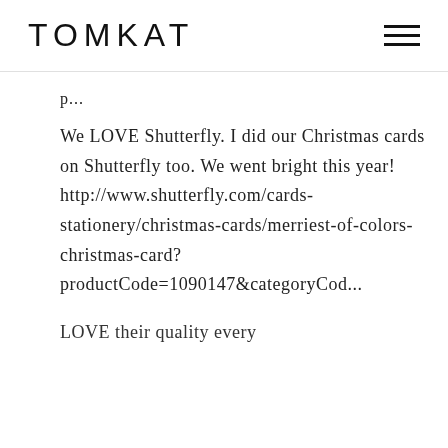TOMKAT
p...
We LOVE Shutterfly. I did our Christmas cards on Shutterfly too. We went bright this year! http://www.shutterfly.com/cards-stationery/christmas-cards/merriest-of-colors-christmas-card?productCode=1090147&categoryCode=...
LOVE their quality every